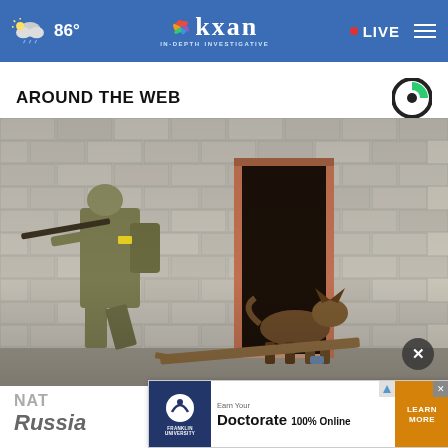86° KXAN IN-DEPTH INVESTIGATIVE • LIVE
AROUND THE WEB
[Figure (photo): Ukrainian soldier in camouflage gear aiming a rifle beside a brick wall with a doorway, while a German Shepherd dog stands at the entrance of the dark doorway.]
NATO ... Russia
[Figure (other): Advertisement banner: Franklin University - Earn Your Doctorate 100% Online - Learn More]